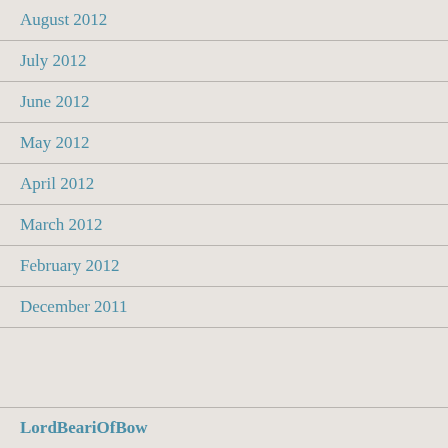August 2012
July 2012
June 2012
May 2012
April 2012
March 2012
February 2012
December 2011
LordBeariOfBow